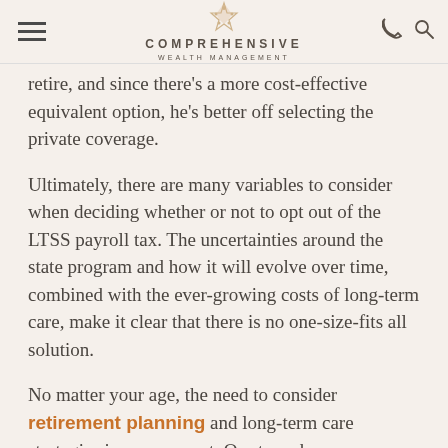Comprehensive Wealth Management
retire, and since there's a more cost-effective equivalent option, he's better off selecting the private coverage.
Ultimately, there are many variables to consider when deciding whether or not to opt out of the LTSS payroll tax. The uncertainties around the state program and how it will evolve over time, combined with the ever-growing costs of long-term care, make it clear that there is no one-size-fits all solution.
No matter your age, the need to consider retirement planning and long-term care strategies is ever present. Our team has seen